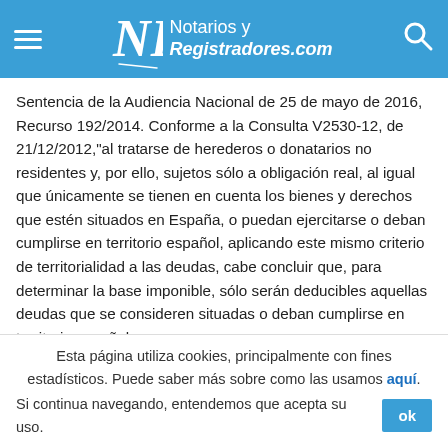Notarios y Registradores.com
Sentencia de la Audiencia Nacional de 25 de mayo de 2016, Recurso 192/2014. Conforme a la Consulta V2530-12, de 21/12/2012,"al tratarse de herederos o donatarios no residentes y, por ello, sujetos sólo a obligación real, al igual que únicamente se tienen en cuenta los bienes y derechos que estén situados en España, o puedan ejercitarse o deban cumplirse en territorio español, aplicando este mismo criterio de territorialidad a las deudas, cabe concluir que, para determinar la base imponible, sólo serán deducibles aquellas deudas que se consideren situadas o deban cumplirse en territorio español.
Esta página utiliza cookies, principalmente con fines estadísticos. Puede saber más sobre como las usamos aquí. Si continua navegando, entendemos que acepta su uso. ok